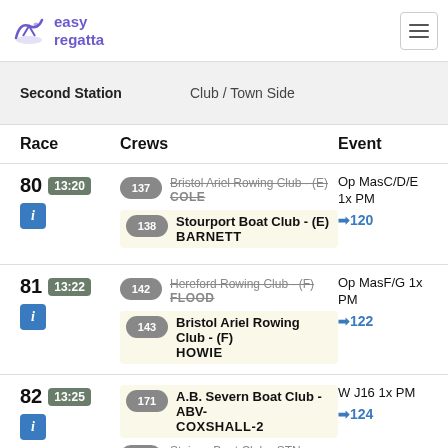easy regatta
Second Station   Club / Town Side
| Race | Crews | Event |
| --- | --- | --- |
| 80  13:20 | 137 Bristol Ariel Rowing Club - (E) COLE
138 Stourport Boat Club - (E) BARNETT | Op MasC/D/E 1x PM →120 |
| 81  13:22 | 142 Hereford Rowing Club - (F) FLOOD
143 Bristol Ariel Rowing Club - (F) HOWIE | Op MasF/G 1x PM →122 |
| 82  13:25 | 171 A.B. Severn Boat Club - ABV-COXSHALL-2
172 Staines Boat Club - STN-WATERS | W J16 1x PM →124 |